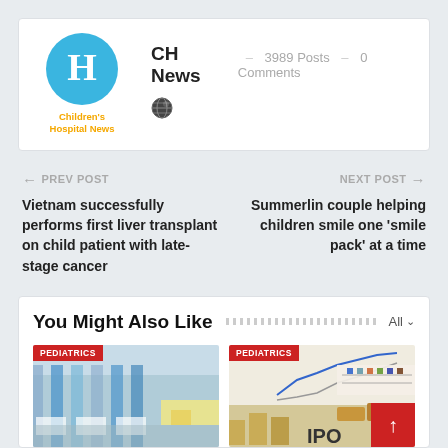[Figure (logo): Children's Hospital News logo: blue circle with white H, yellow text below]
CH News  -  3989 Posts  -  0 Comments
← PREV POST
Vietnam successfully performs first liver transplant on child patient with late-stage cancer
NEXT POST →
Summerlin couple helping children smile one 'smile pack' at a time
You Might Also Like
[Figure (photo): Hospital ward with blue curtains and beds - PEDIATRICS badge]
[Figure (photo): Financial/IPO chart with bar graphs - PEDIATRICS badge]